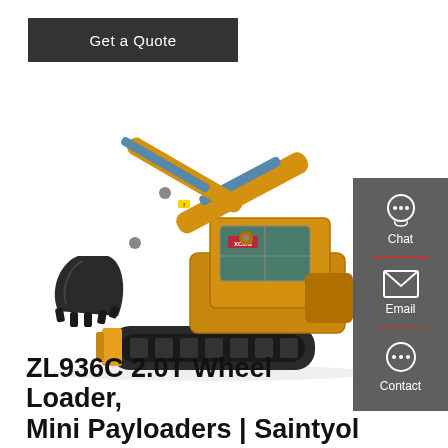Get a Quote
[Figure (photo): Yellow mini excavator/crawler excavator on white background, brand XCMG, with extended boom and bucket]
Chat
Email
Contact
ZL936C 2.0T Wheel Loader, Mini Payloaders | Saintyol